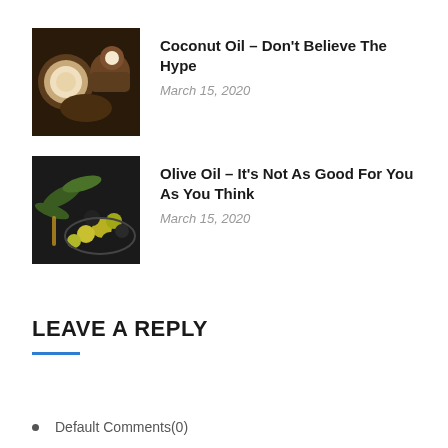[Figure (photo): Coconut image thumbnail]
Coconut Oil – Don't Believe The Hype
March 15, 2020
[Figure (photo): Olive oil and olives image thumbnail]
Olive Oil – It's Not As Good For You As You Think
March 15, 2020
LEAVE A REPLY
Default Comments(0)
Facebook Comments